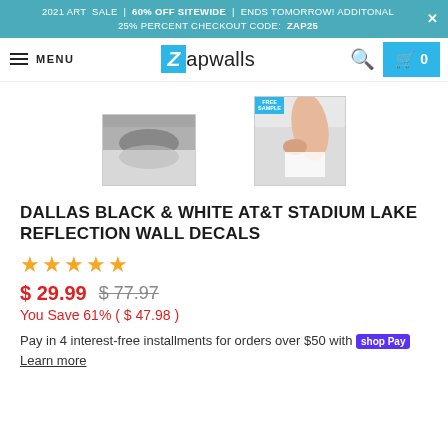2021 ART SALE | 60% OFF SITEWIDE | ENDS TOMORROW! ADDITONAL 25% PERCENT CHECKOUT CODE: ZAP25
MENU Zapwalls [search] [cart 0]
[Figure (photo): Black and white photo thumbnail of Dallas AT&T Stadium lake reflection]
[Figure (photo): Photo thumbnail of hand peeling a wall decal, with FREE SAMPLE chip]
DALLAS BLACK & WHITE AT&T STADIUM LAKE REFLECTION WALL DECALS
★★★★★
$ 29.99  $77.97
You Save 61% ( $ 47.98 )
Pay in 4 interest-free installments for orders over $50 with shop Pay Learn more